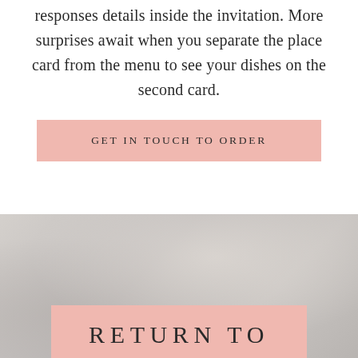responses details inside the invitation. More surprises await when you separate the place card from the menu to see your dishes on the second card.
GET IN TOUCH TO ORDER
[Figure (photo): Soft gray and taupe blurred photo background, appearing to show fabric or floral elements, used as the background for the bottom section of the page.]
RETURN TO